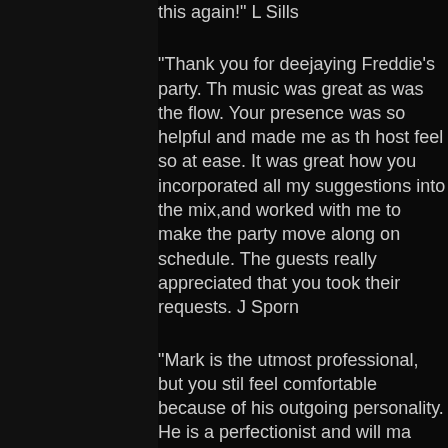this again!" L Sills
“Thank you for deejaying Freddie’s party.  The music was great as was the flow.  Your presence was so helpful and made me as the host feel so at ease.  It was great how you incorporated all my suggestions into the mix,and worked with me to make the party move along on schedule.  The guests really appreciated that you took their requests.  J Sporn
“Mark is the utmost professional, but you still feel comfortable because of his outgoing personality.  He is a perfectionist and will make sure everything flows smoothly and everyone